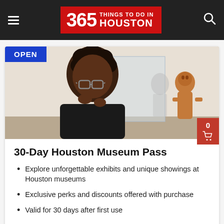365 Things to Do in Houston
[Figure (photo): A person examining a museum artifact exhibit with ancient clay figurine visible behind glass]
30-Day Houston Museum Pass
Explore unforgettable exhibits and unique showings at Houston museums
Exclusive perks and discounts offered with purchase
Valid for 30 days after first use